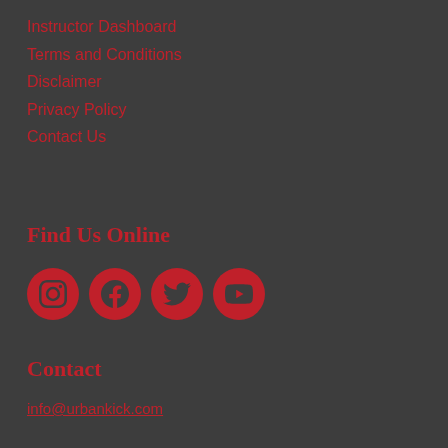Instructor Dashboard
Terms and Conditions
Disclaimer
Privacy Policy
Contact Us
Find Us Online
[Figure (infographic): Social media icons: Instagram, Facebook, Twitter, YouTube — all in red circles]
Contact
info@urbankick.com